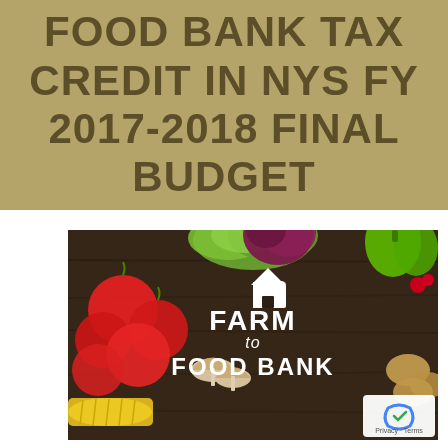FOOD BANK TAX CREDIT IN NYS FY 2017-2018 FINAL BUDGET
[Figure (photo): A 'Farm to Food Bank' promotional image showing fresh vegetables (tomatoes, lettuce, onions, corn, mushrooms, bell peppers, potatoes) arranged around a dark wooden surface with a white 'Farm to Food Bank' logo featuring a barn icon in the center.]